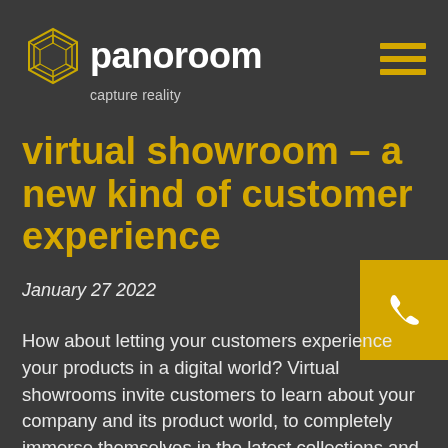[Figure (logo): Panoroom logo with geometric diamond/polygon icon in gold, white bold text 'panoroom' and gray tagline 'capture reality']
virtual showroom – a new kind of customer experience
January 27 2022
[Figure (illustration): Yellow/gold square button with white phone handset icon]
How about letting your customers experience your products in a digital world? Virtual showrooms invite customers to learn about your company and its product world, to completely immerse themselves in the latest collections and get a realistic first impression. Unlike real showrooms, which are bound by opening hours and